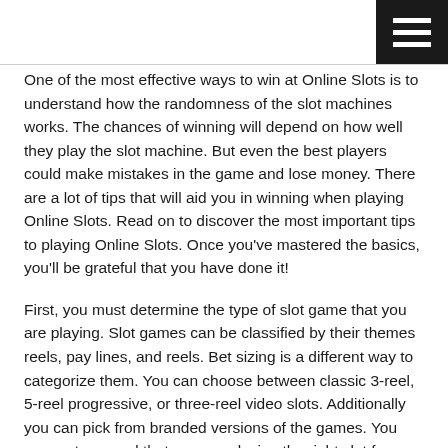[Figure (other): Hamburger menu icon — three white horizontal lines on a black square background, positioned top-right corner]
One of the most effective ways to win at Online Slots is to understand how the randomness of the slot machines works. The chances of winning will depend on how well they play the slot machine. But even the best players could make mistakes in the game and lose money. There are a lot of tips that will aid you in winning when playing Online Slots. Read on to discover the most important tips to playing Online Slots. Once you've mastered the basics, you'll be grateful that you have done it!
First, you must determine the type of slot game that you are playing. Slot games can be classified by their themes reels, pay lines, and reels. Bet sizing is a different way to categorize them. You can choose between classic 3-reel, 5-reel progressive, or three-reel video slots. Additionally you can pick from branded versions of the games. You can rest assured that you are playing the right slot for you.